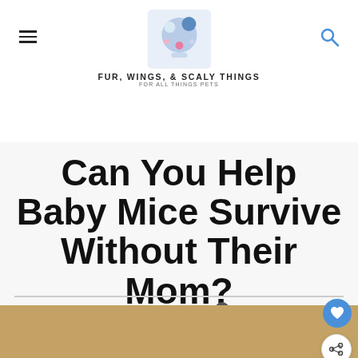Fur, Wings, & Scaly Things · For all things pets
Can You Help Baby Mice Survive Without Their Mom?
Last updated: April 20, 2022 · 5 Comments
Pocket Pets, Popular Posts
[Figure (photo): Bottom portion of an article hero image showing a warm tan/golden background]